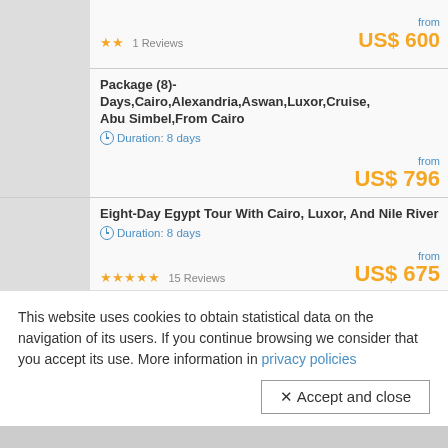★★ 1 Reviews — from US$ 600
Package (8)-Days,Cairo,Alexandria,Aswan,Luxor,Cruise,Abu Simbel,From Cairo — Duration: 8 days — from US$ 796
Eight-Day Egypt Tour With Cairo, Luxor, And Nile River — Duration: 8 days — ★★★★★ 15 Reviews — from US$ 675
Luxor To Aswan Three-Night Nile River Cruise — Duration: 4 days — ★★★★★ 3 Reviews — from US$ 256
This website uses cookies to obtain statistical data on the navigation of its users. If you continue browsing we consider that you accept its use. More information in privacy policies
✕ Accept and close